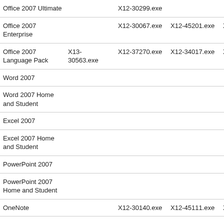| Office 2007 Ultimate |  | X12-30299.exe |  |  |
| Office 2007 Enterprise |  | X12-30067.exe | X12-45201.exe | X12-45202.ex… |
| Office 2007 Language Pack | X13-30563.exe | X12-37270.exe | X12-34017.exe | X12-34018.ex… |
| Word 2007 |  |  |  |  |
| Word 2007 Home and Student |  |  |  |  |
| Excel 2007 |  |  |  |  |
| Excel 2007 Home and Student |  |  |  |  |
| PowerPoint 2007 |  |  |  |  |
| PowerPoint 2007 Home and Student |  |  |  |  |
| OneNote |  | X12-30140.exe… | X12-45111.exe… | X12-4511… |